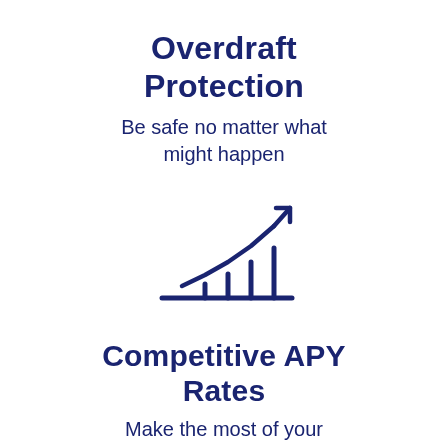Overdraft Protection
Be safe no matter what might happen
[Figure (infographic): Bar chart icon with rising line and upward arrow, representing growth/competitive rates. Dark navy blue outline icon on white background.]
Competitive APY Rates
Make the most of your money